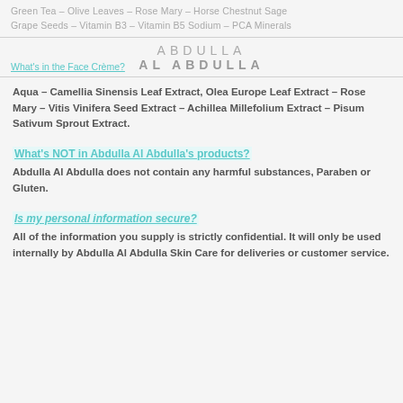Green Tea – Olive Leaves – Rose Mary – Horse Chestnut Sage Grape Seeds – Vitamin B3 – Vitamin B5 Sodium – PCA Minerals
What's in the Face Crème?
ABDULLA
AL ABDULLA
Aqua – Camellia Sinensis Leaf Extract, Olea Europe Leaf Extract – Rose Mary – Vitis Vinifera Seed Extract – Achillea Millefolium Extract – Pisum Sativum Sprout Extract.
What's NOT in Abdulla Al Abdulla's products?
Abdulla Al Abdulla does not contain any harmful substances, Paraben or Gluten.
Is my personal information secure?
All of the information you supply is strictly confidential. It will only be used internally by Abdulla Al Abdulla Skin Care for deliveries or customer service.